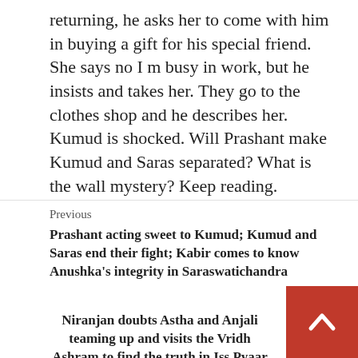returning, he asks her to come with him in buying a gift for his special friend. She says no I m busy in work, but he insists and takes her. They go to the clothes shop and he describes her. Kumud is shocked. Will Prashant make Kumud and Saras separated? What is the wall mystery? Keep reading.
Previous
Prashant acting sweet to Kumud; Kumud and Saras end their fight; Kabir comes to know Anushka's integrity in Saraswatichandra
Next
Niranjan doubts Astha and Anjali teaming up and visits the Vridh Ashram to find the truth in Iss Pyaar Ko Kya Naam Doon Ek Ba...